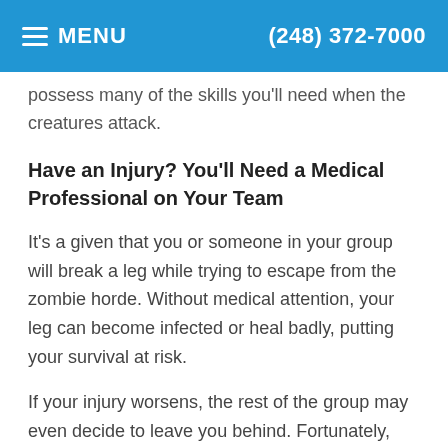MENU  (248) 372-7000
possess many of the skills you'll need when the creatures attack.
Have an Injury? You'll Need a Medical Professional on Your Team
It's a given that you or someone in your group will break a leg while trying to escape from the zombie horde. Without medical attention, your leg can become infected or heal badly, putting your survival at risk.
If your injury worsens, the rest of the group may even decide to leave you behind. Fortunately, your veterinarian friend won't let that happen. Veterinarians have the medical knowledge and skills to treat injuries and illnesses that could make you an